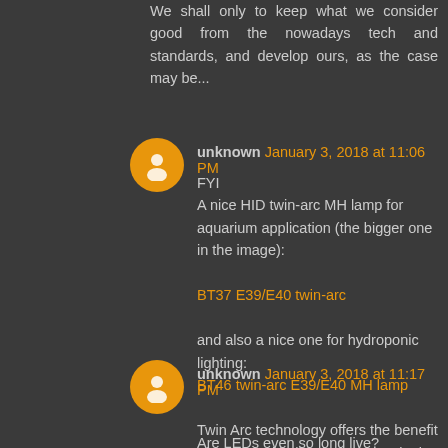We shall only to keep what we consider good from the nowadays tech and standards, and develop ours, as the case may be...
unknown January 3, 2018 at 11:06 PM
FYI
A nice HID twin-arc MH lamp for aquarium application (the bigger one in the image):

BT37 E39/E40 twin-arc

and also a nice one for hydroponic lighting:
BT46 twin-arc E39/E40 MH lamp

Twin Arc technology offers the benefit of two metal halide lamps in a single unit.
unknown January 3, 2018 at 11:17 PM

Are LEDs even so long live?